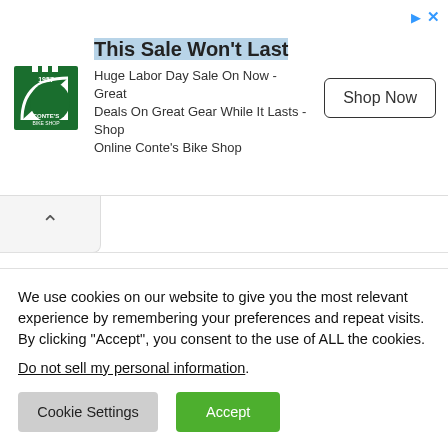[Figure (other): Advertisement banner for Conte's Bike Shop with logo, headline 'This Sale Won't Last', body text about Labor Day Sale, and a 'Shop Now' button.]
We use cookies on our website to give you the most relevant experience by remembering your preferences and repeat visits. By clicking “Accept”, you consent to the use of ALL the cookies.
Do not sell my personal information.
Cookie Settings
Accept